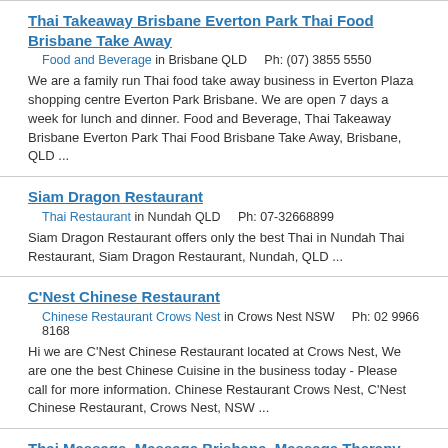Thai Takeaway Brisbane Everton Park Thai Food Brisbane Take Away
Food and Beverage in Brisbane QLD    Ph: (07) 3855 5550
We are a family run Thai food take away business in Everton Plaza shopping centre Everton Park Brisbane. We are open 7 days a week for lunch and dinner. Food and Beverage, Thai Takeaway Brisbane Everton Park Thai Food Brisbane Take Away, Brisbane, QLD ...
Siam Dragon Restaurant
Thai Restaurant in Nundah QLD    Ph: 07-32668899
Siam Dragon Restaurant offers only the best Thai in Nundah Thai Restaurant, Siam Dragon Restaurant, Nundah, QLD ...
C'Nest Chinese Restaurant
Chinese Restaurant Crows Nest in Crows Nest NSW    Ph: 02 9966 8168
Hi we are C'Nest Chinese Restaurant located at Crows Nest, We are one the best Chinese Cuisine in the business today - Please call for more information. Chinese Restaurant Crows Nest, C'Nest Chinese Restaurant, Crows Nest, NSW ...
Thai Massage, Massage Brisbane, Massage Therapy, Traditional Thai Massage, massage brisbane thai, ma
Thai Massage in West End QLD    Ph: (07) 3844 6527
Normal 0 false false false EN US X NONE X NONE Thai Massage...